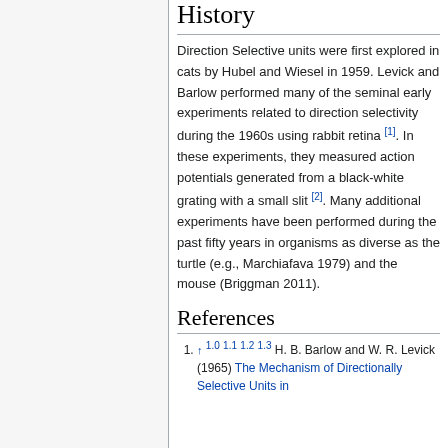History
Direction Selective units were first explored in cats by Hubel and Wiesel in 1959. Levick and Barlow performed many of the seminal early experiments related to direction selectivity during the 1960s using rabbit retina [1]. In these experiments, they measured action potentials generated from a black-white grating with a small slit [2]. Many additional experiments have been performed during the past fifty years in organisms as diverse as the turtle (e.g., Marchiafava 1979) and the mouse (Briggman 2011).
References
1. ↑ 1.0 1.1 1.2 1.3 H. B. Barlow and W. R. Levick (1965) The Mechanism of Directionally Selective Units in